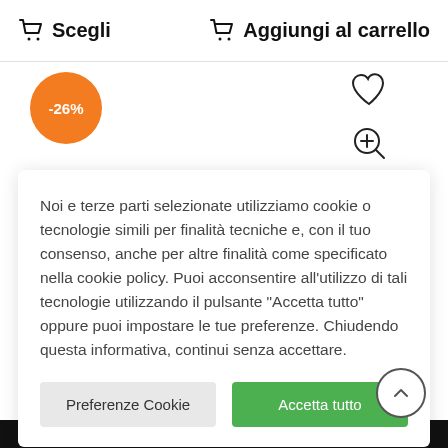Scegli   Aggiungi al carrello
[Figure (infographic): Orange circle badge with -26% discount text]
[Figure (other): Heart icon (wishlist) and magnifying glass with plus (zoom) icons]
Noi e terze parti selezionate utilizziamo cookie o tecnologie simili per finalità tecniche e, con il tuo consenso, anche per altre finalità come specificato nella cookie policy. Puoi acconsentire all’utilizzo di tali tecnologie utilizzando il pulsante “Accetta tutto” oppure puoi impostare le tue preferenze. Chiudendo questa informativa, continui senza accettare.
Preferenze Cookie   Accetta tutto